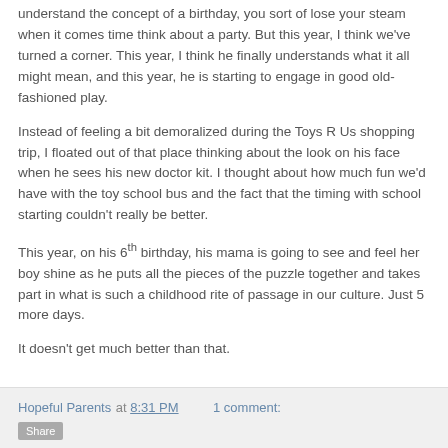understand the concept of a birthday, you sort of lose your steam when it comes time think about a party. But this year, I think we've turned a corner. This year, I think he finally understands what it all might mean, and this year, he is starting to engage in good old-fashioned play.
Instead of feeling a bit demoralized during the Toys R Us shopping trip, I floated out of that place thinking about the look on his face when he sees his new doctor kit. I thought about how much fun we'd have with the toy school bus and the fact that the timing with school starting couldn't really be better.
This year, on his 6th birthday, his mama is going to see and feel her boy shine as he puts all the pieces of the puzzle together and takes part in what is such a childhood rite of passage in our culture. Just 5 more days.
It doesn't get much better than that.
Hopeful Parents at 8:31 PM   1 comment: